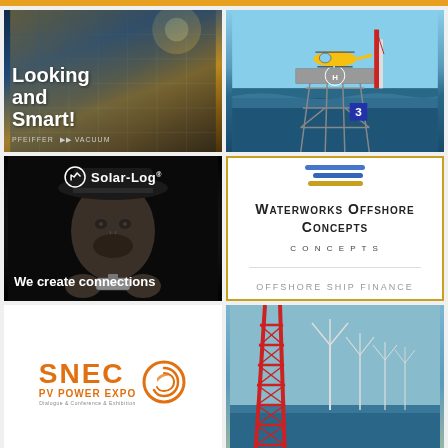[Figure (photo): Solar panels advertisement with text 'Looking and Smart!' and Pfeiffer Vacuum logo]
[Figure (photo): Yellow helicopter landing on an offshore oil rig platform surrounded by blue sea]
[Figure (photo): Solar-Log advertisement showing a person with 'We create connections' tagline]
[Figure (logo): Waterworks Offshore Concepts logo with wave design and text 'Offshore Ship Finance']
[Figure (logo): SNEC PV Power Expo logo - Dialogue & Conference & Exhibition]
[Figure (photo): Offshore wind turbines with a red steel lattice tower in foreground]